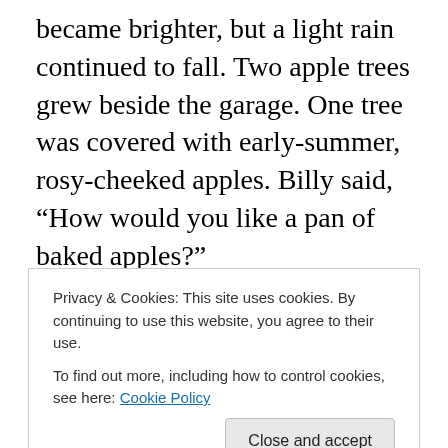became brighter, but a light rain continued to fall. Two apple trees grew beside the garage. One tree was covered with early-summer, rosy-cheeked apples. Billy said, “How would you like a pan of baked apples?”
My smile was all the answer he needed. Jumping to his feet, my brother found a pan and went out into the rain. I sat by the open window and watched him pick apples for our treat.
Eight years before I was born, Daddy had built this garage across the driveway from the old farmhouse. One hay was
Privacy & Cookies: This site uses cookies. By continuing to use this website, you agree to their use.
To find out more, including how to control cookies, see here: Cookie Policy
children living in a farmhouse with only two bedrooms.